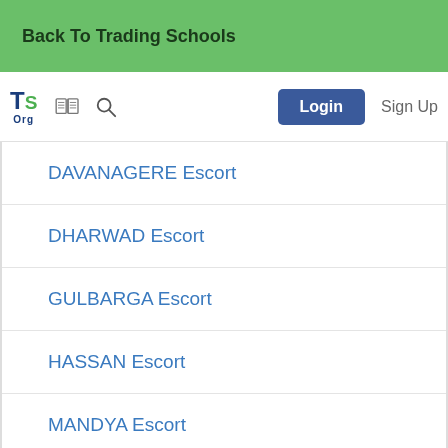Back To Trading Schools
[Figure (logo): TS Org logo with book icon, search icon, Login button, and Sign Up text in navigation bar]
DAVANAGERE Escort
DHARWAD Escort
GULBARGA Escort
HASSAN Escort
MANDYA Escort